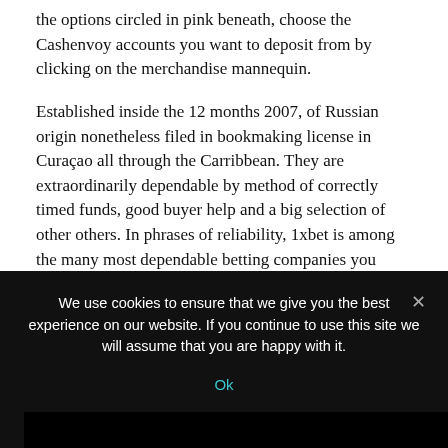the options circled in pink beneath, choose the Cashenvoy accounts you want to deposit from by clicking on the merchandise mannequin.
Established inside the 12 months 2007, of Russian origin nonetheless filed in bookmaking license in Curaçao all through the Carribbean. They are extraordinarily dependable by method of correctly timed funds, good buyer help and a big selection of other others. In phrases of reliability, 1xbet is among the many most dependable betting companies you most likely can ever come throughout. The dimension of the utmost guess is
We use cookies to ensure that we give you the best experience on our website. If you continue to use this site we will assume that you are happy with it.
Ok